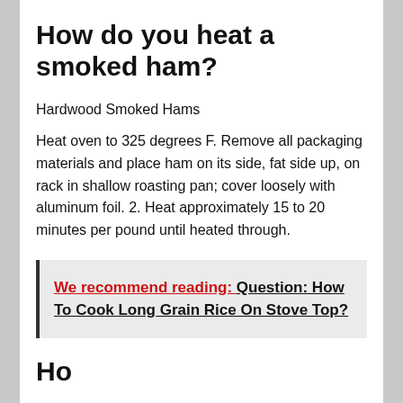How do you heat a smoked ham?
Hardwood Smoked Hams
Heat oven to 325 degrees F. Remove all packaging materials and place ham on its side, fat side up, on rack in shallow roasting pan; cover loosely with aluminum foil. 2. Heat approximately 15 to 20 minutes per pound until heated through.
We recommend reading:  Question: How To Cook Long Grain Rice On Stove Top?
Ho